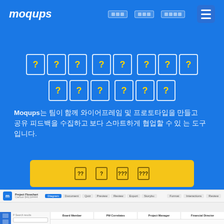moqups [nav links] [hamburger menu]
[???] [??] [???] [???] [???]
Moqups는 팀이 함께 와이어프레임 및 프로토타입을 만들고 공유 피드백을 수집하고 보다 스마트하게 협업할 수 있는 도구입니다.
[무 료 체 험 시 작]
[Figure (screenshot): Screenshot of the Moqups application interface showing a project board with Board Member, PM Correlates, Project Manager, and Financial Director columns and a sidebar navigation]